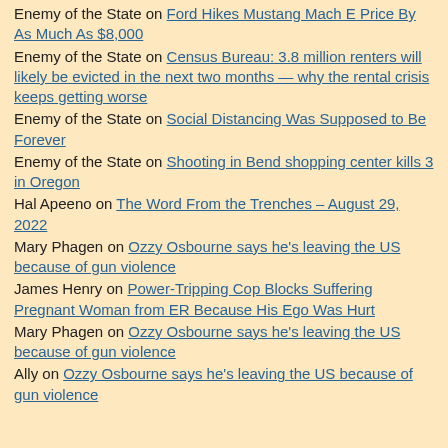Enemy of the State on Ford Hikes Mustang Mach E Price By As Much As $8,000
Enemy of the State on Census Bureau: 3.8 million renters will likely be evicted in the next two months — why the rental crisis keeps getting worse
Enemy of the State on Social Distancing Was Supposed to Be Forever
Enemy of the State on Shooting in Bend shopping center kills 3 in Oregon
Hal Apeeno on The Word From the Trenches – August 29, 2022
Mary Phagen on Ozzy Osbourne says he's leaving the US because of gun violence
James Henry on Power-Tripping Cop Blocks Suffering Pregnant Woman from ER Because His Ego Was Hurt
Mary Phagen on Ozzy Osbourne says he's leaving the US because of gun violence
Ally on Ozzy Osbourne says he's leaving the US because of gun violence